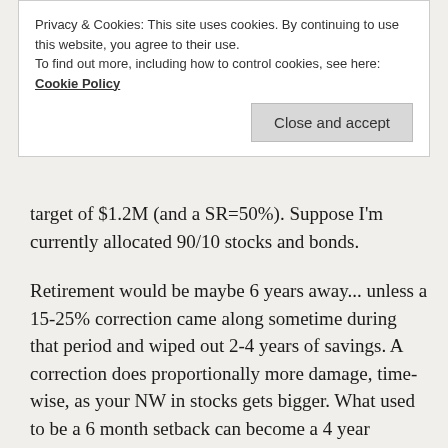Privacy & Cookies: This site uses cookies. By continuing to use this website, you agree to their use.
To find out more, including how to control cookies, see here: Cookie Policy
Close and accept
target of $1.2M (and a SR=50%). Suppose I'm currently allocated 90/10 stocks and bonds.
Retirement would be maybe 6 years away... unless a 15-25% correction came along sometime during that period and wiped out 2-4 years of savings. A correction does proportionally more damage, time-wise, as your NW in stocks gets bigger. What used to be a 6 month setback can become a 4 year setback if it occurs close to the finish line.
Now, suppose I have the opportunity to shift some of my portfolio to Navient bonds backed by student